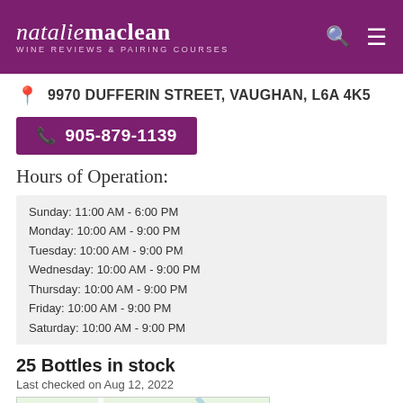nataliemaclean WINE REVIEWS & PAIRING COURSES
9970 DUFFERIN STREET, VAUGHAN, L6A 4K5
905-879-1139
Hours of Operation:
Sunday: 11:00 AM - 6:00 PM
Monday: 10:00 AM - 9:00 PM
Tuesday: 10:00 AM - 9:00 PM
Wednesday: 10:00 AM - 9:00 PM
Thursday: 10:00 AM - 9:00 PM
Friday: 10:00 AM - 9:00 PM
Saturday: 10:00 AM - 9:00 PM
25 Bottles in stock
Last checked on Aug 12, 2022
[Figure (map): Google Maps showing Maple Nature Reserve and Yummy Market near 9970 Dufferin Street, Vaughan]